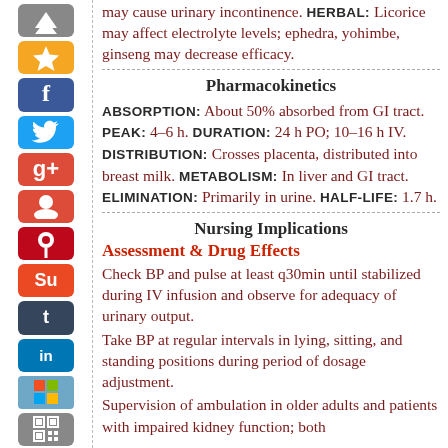may cause urinary incontinence. Herbal: Licorice may affect electrolyte levels; ephedra, yohimbe, ginseng may decrease efficacy.
Pharmacokinetics
Absorption: About 50% absorbed from GI tract. Peak: 4–6 h. Duration: 24 h PO; 10–16 h IV. Distribution: Crosses placenta, distributed into breast milk. Metabolism: In liver and GI tract. Elimination: Primarily in urine. Half-Life: 1.7 h.
Nursing Implications
Assessment & Drug Effects
Check BP and pulse at least q30min until stabilized during IV infusion and observe for adequacy of urinary output.
Take BP at regular intervals in lying, sitting, and standing positions during period of dosage adjustment.
Supervision of ambulation in older adults and patients with impaired kidney function; both